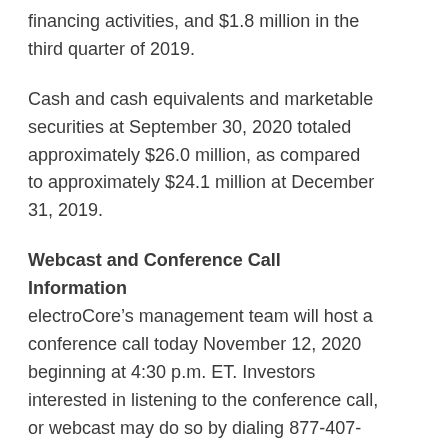financing activities, and $1.8 million in the third quarter of 2019.
Cash and cash equivalents and marketable securities at September 30, 2020 totaled approximately $26.0 million, as compared to approximately $24.1 million at December 31, 2019.
Webcast and Conference Call Information
electroCore’s management team will host a conference call today November 12, 2020 beginning at 4:30 p.m. ET. Investors interested in listening to the conference call, or webcast may do so by dialing 877-407-4018 for domestic callers or 201-689-8471 for international callers, using Conference ID: 13711577, or by connecting to the